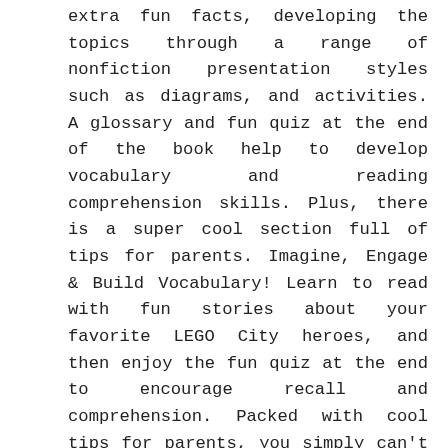extra fun facts, developing the topics through a range of nonfiction presentation styles such as diagrams, and activities. A glossary and fun quiz at the end of the book help to develop vocabulary and reading comprehension skills. Plus, there is a super cool section full of tips for parents. Imagine, Engage & Build Vocabulary! Learn to read with fun stories about your favorite LEGO City heroes, and then enjoy the fun quiz at the end to encourage recall and comprehension. Packed with cool tips for parents, you simply can't go wrong with this awesome Level 2 reader, perfect for any LEGO obsessed child. Each title in the DK Readers series is developed in consultation with leading literacy experts to help children build a lifelong love of reading. Go on an adventure through these pages with: - Firefighters, paramedics, and police officers racing to save the day -